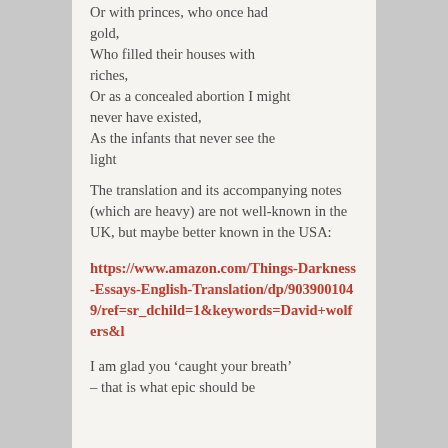Or with princes, who once had gold,
Who filled their houses with riches,
Or as a concealed abortion I might never have existed,
As the infants that never see the light
The translation and its accompanying notes (which are heavy) are not well-known in the UK, but maybe better known in the USA:
https://www.amazon.com/Things-Darkness-Essays-English-Translation/dp/9039001049/ref=sr_dchild=1&keywords=David+wolfers&l
I am glad you ‘caught your breath’ – that is what epic should be